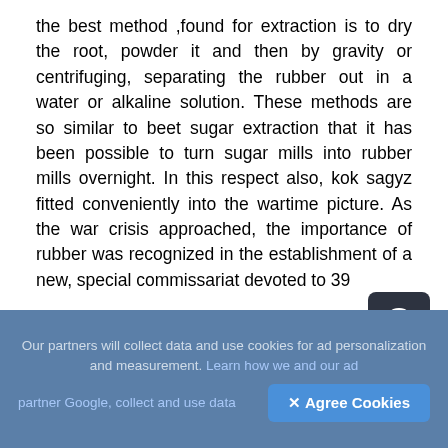the best method ,found for extraction is to dry the root, powder it and then by gravity or centrifuging, separating the rubber out in a water or alkaline solution. These methods are so similar to beet sugar extraction that it has been possible to turn sugar mills into rubber mills overnight. In this respect also, kok sagyz fitted conveniently into the wartime picture. As the war crisis approached, the importance of rubber was recognized in the establishment of a new, special commissariat devoted to 39

extending rubber production, both synthetic and natural. Established in 194 1, the new commissariat was headed by Tikhon Borisovich Mitrokhin. By that
[Figure (other): Dark rounded square button with a circled up-arrow icon (upload/scroll-to-top button)]
Our partners will collect data and use cookies for ad personalization and measurement. Learn how we and our ad partner Google, collect and use data
✕ Agree Cookies